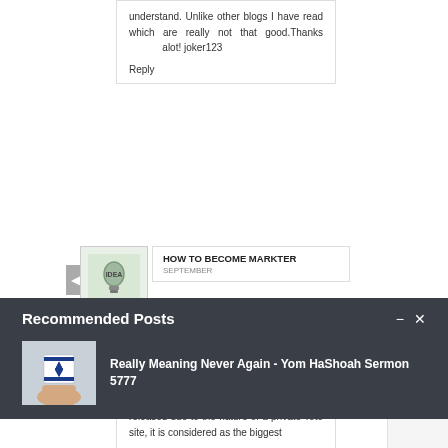understand. Unlike other blogs I have read which are really not that good.Thanks alot! joker123
Reply
HOW TO BECOME MARKTER
SEPTEMBER
Recommended Posts
Really Meaning Never Again - Yom HaShoah Sermon 5777
games. However, since it is not officially released due to the nature of a private Toto site, it is considered as the biggest